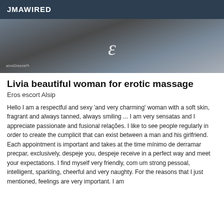JMAWIRED
[Figure (photo): Partial view of a person, dark background with a stylized character in the center and watermark text at bottom left]
Livia beautiful woman for erotic massage
Eros escort Alsip
Hello I am a respectful and sexy 'and very charming' woman with a soft skin, fragrant and always tanned, always smiling ... I am very sensatas and I appreciate passionate and fusional relações. I like to see people regularly in order to create the cumplicit that can exist between a man and his girlfriend. Each appointment is important and takes at the time mínimo de derramar precpar, exclusively, despeje you, despeje receive in a perfect way and meet your expectations. I find myself very friendly, com um strong pessoal, intelligent, sparkling, cheerful and very naughty. For the reasons that I just mentioned, feelings are very important. I am